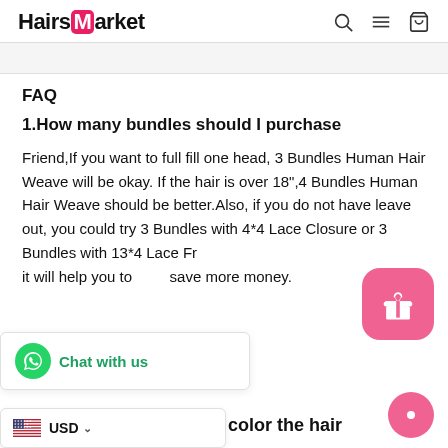HairsMarket
FAQ
1.How many bundles should I purchase
Friend,If you want to full fill one head, 3 Bundles Human Hair Weave will be okay. If the hair is over 18",4 Bundles Human Hair Weave should be better.Also, if you do not have leave out, you could try 3 Bundles with 4*4 Lace Closure or 3 Bundles with 13*4 Lace Fr... it will help you to save more money.
color the hair